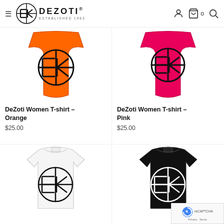DEZOTI – Established 1983
[Figure (photo): Orange DeZoti women's tank top with black EK circle logo]
DeZoti Women T-shirt – Orange
$25.00
[Figure (photo): Pink DeZoti women's tank top with black EK circle logo]
DeZoti Women T-shirt – Pink
$25.00
[Figure (photo): White DeZoti women's T-shirt with black EK circle logo]
[Figure (photo): Black DeZoti women's T-shirt with white EK circle logo]